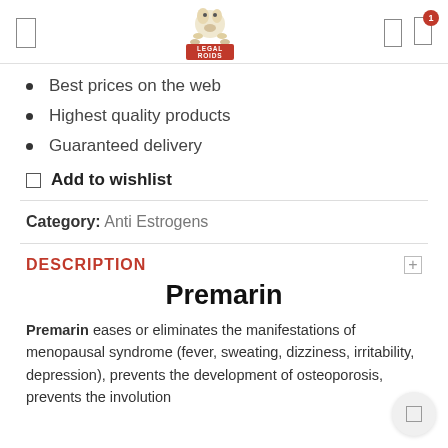LEGAL ROIDS [logo/header]
Best prices on the web
Highest quality products
Guaranteed delivery
Add to wishlist
Category: Anti Estrogens
DESCRIPTION
Premarin
Premarin eases or eliminates the manifestations of menopausal syndrome (fever, sweating, dizziness, irritability, depression), prevents the development of osteoporosis, prevents the involution